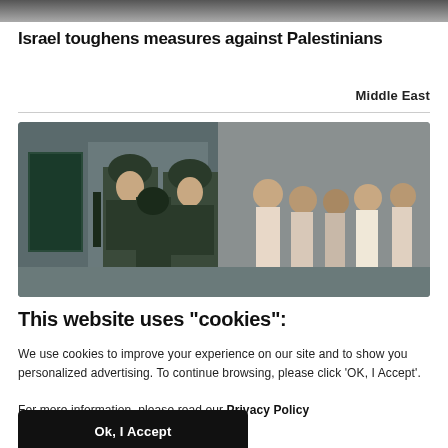[Figure (photo): Partial top image strip showing a scene, cropped at top of page]
Israel toughens measures against Palestinians
Middle East
[Figure (photo): Israeli soldiers in military gear standing in front of crowd of Palestinian civilians in an urban setting]
This website uses "cookies":
We use cookies to improve your experience on our site and to show you personalized advertising. To continue browsing, please click ‘OK, I Accept’.

For more information, please read our Privacy Policy
Ok, I Accept